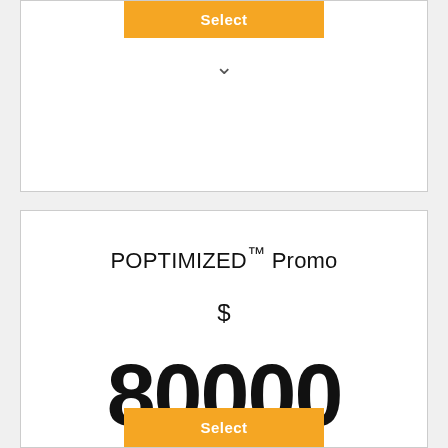Select
∨
POPTIMIZED™ Promo
$
80000
Every year
6 Owner Uploaded or 3 Created POPmercial® Spots
Valid for 2 years
Select